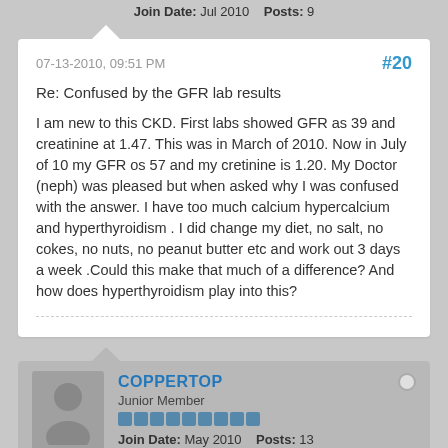Join Date: Jul 2010   Posts: 9
07-13-2010, 09:51 PM
#20
Re: Confused by the GFR lab results
I am new to this CKD. First labs showed GFR as 39 and creatinine at 1.47. This was in March of 2010. Now in July of 10 my GFR os 57 and my cretinine is 1.20. My Doctor (neph) was pleased but when asked why I was confused with the answer. I have too much calcium hypercalcium and hyperthyroidism . I did change my diet, no salt, no cokes, no nuts, no peanut butter etc and work out 3 days a week .Could this make that much of a difference? And how does hyperthyroidism play into this?
COPPERTOP
Junior Member
Join Date: May 2010   Posts: 13